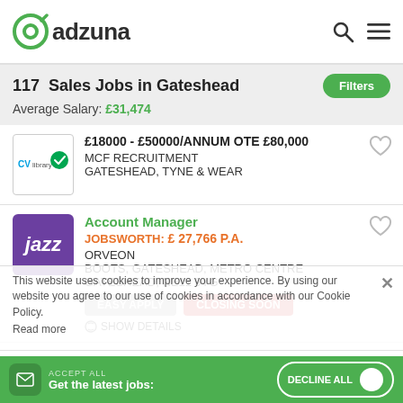[Figure (logo): Adzuna logo with green circular icon and dark text]
117  Sales Jobs in Gateshead
Average Salary: £31,474
[Figure (logo): CVLibrary logo]
£18000 - £50000/ANNUM OTE £80,000
MCF RECRUITMENT
GATESHEAD, TYNE & WEAR
[Figure (logo): Jazz logo on purple background]
Account Manager
JOBSWORTH: £ 27,766 P.A.
ORVEON
BOOTS, GATESHEAD, METRO CENTRE
GATESHEAD, NE11 9YG
EASY APPLY   CLOSING SOON
SHOW DETAILS
This website uses cookies to improve your experience. By using our website you agree to our use of cookies in accordance with our Cookie Policy.
Read more
Now Hiring Sales Agents – Earn $500/day Plus Renewals
ACCEPT ALL
Get the latest jobs:
DECLINE ALL